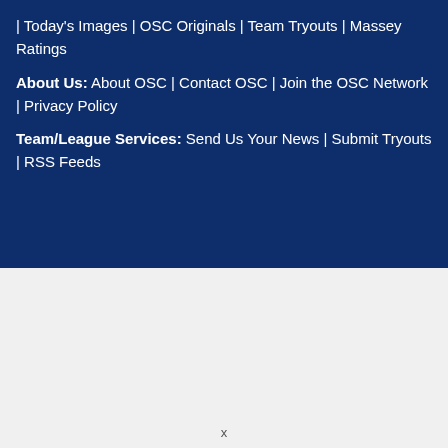| Today's Images | OSC Originals | Team Tryouts | Massey Ratings
About Us: About OSC | Contact OSC | Join the OSC Network | Privacy Policy
Team/League Services: Send Us Your News | Submit Tryouts | RSS Feeds